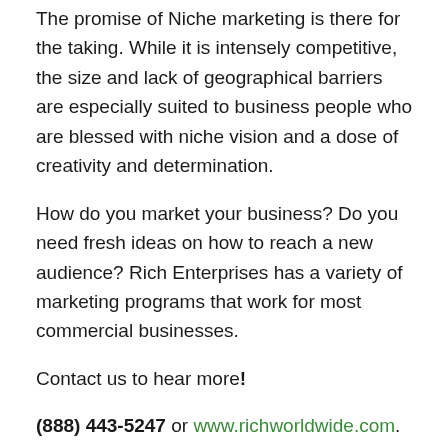The promise of Niche marketing is there for the taking. While it is intensely competitive, the size and lack of geographical barriers are especially suited to business people who are blessed with niche vision and a dose of creativity and determination.
How do you market your business? Do you need fresh ideas on how to reach a new audience? Rich Enterprises has a variety of marketing programs that work for most commercial businesses.
Contact us to hear more!
(888) 443-5247 or www.richworldwide.com.